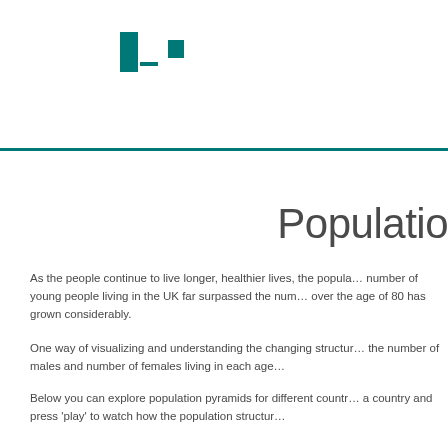Populatio
As the people continue to live longer, healthier lives, the popula… number of young people living in the UK far surpassed the num… over the age of 80 has grown considerably.
One way of visualizing and understanding the changing structur… the number of males and number of females living in each age…
Below you can explore population pyramids for different countr… a country and press 'play' to watch how the population structur…